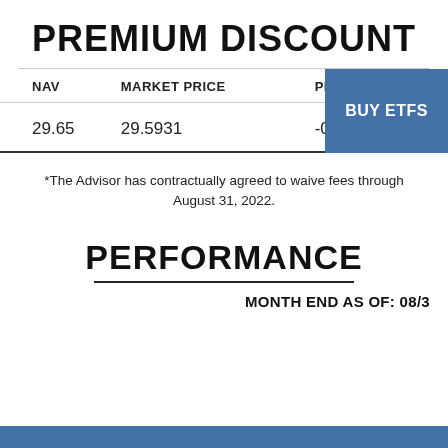PREMIUM DISCOUNT
| NAV | MARKET PRICE | PREMIUM,/DISCOUNT |
| --- | --- | --- |
| 29.65 | 29.5931 | -0.0569 |
*The Advisor has contractually agreed to waive fees through August 31, 2022.
PERFORMANCE
MONTH END AS OF: 08/3